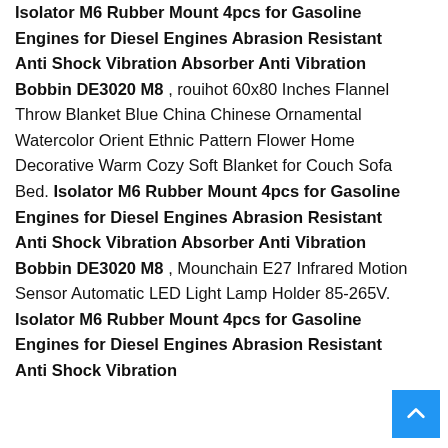Isolator M6 Rubber Mount 4pcs for Gasoline Engines for Diesel Engines Abrasion Resistant Anti Shock Vibration Absorber Anti Vibration Bobbin DE3020 M8 , rouihot 60x80 Inches Flannel Throw Blanket Blue China Chinese Ornamental Watercolor Orient Ethnic Pattern Flower Home Decorative Warm Cozy Soft Blanket for Couch Sofa Bed. Isolator M6 Rubber Mount 4pcs for Gasoline Engines for Diesel Engines Abrasion Resistant Anti Shock Vibration Absorber Anti Vibration Bobbin DE3020 M8 , Mounchain E27 Infrared Motion Sensor Automatic LED Light Lamp Holder 85-265V. Isolator M6 Rubber Mount 4pcs for Gasoline Engines for Diesel Engines Abrasion Resistant Anti Shock Vibration Absorber Anti Vibration Bobbin
[Figure (other): Blue square back-to-top button with white upward chevron arrow]